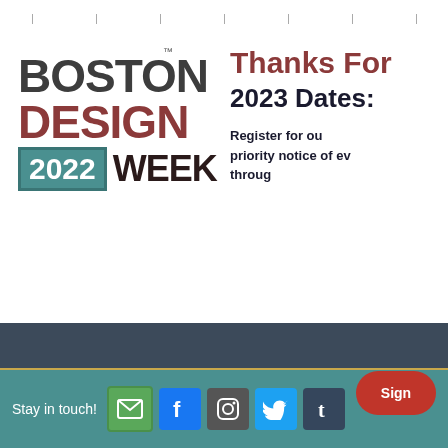[Figure (logo): Boston Design Week 2022 logo with BOSTON in dark gray, DESIGN in dark red, 2022 in white on teal background, WEEK in dark brown, TM trademark symbol]
Thanks For
2023 Dates:
Register for our priority notice of events through
[Figure (illustration): Dark blue-gray banner section with a circular element showing letter D]
Stay in touch! [email icon] [Facebook icon] [Instagram icon] [Twitter icon] [Tumblr icon] Sign